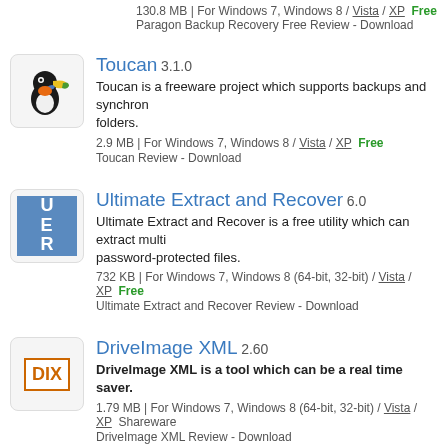130.8 MB | For Windows 7, Windows 8 / Vista / XP   Free
Paragon Backup Recovery Free Review - Download
Toucan 3.1.0
Toucan is a freeware project which supports backups and synchron... folders.
2.9 MB | For Windows 7, Windows 8 / Vista / XP   Free
Toucan Review - Download
Ultimate Extract and Recover 6.0
Ultimate Extract and Recover is a free utility which can extract multi... password-protected files.
732 KB | For Windows 7, Windows 8 (64-bit, 32-bit) / Vista / XP   Free
Ultimate Extract and Recover Review - Download
DriveImage XML 2.60
DriveImage XML is a tool which can be a real time saver.
1.79 MB | For Windows 7, Windows 8 (64-bit, 32-bit) / Vista / XP   Shareware
DriveImage XML Review - Download
Areca Backup 7.5